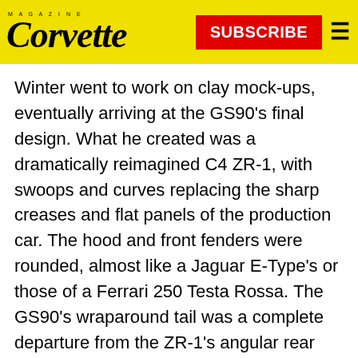Corvette Magazine — SUBSCRIBE
Winter went to work on clay mock-ups, eventually arriving at the GS90's final design. What he created was a dramatically reimagined C4 ZR-1, with swoops and curves replacing the sharp creases and flat panels of the production car. The hood and front fenders were rounded, almost like a Jaguar E-Type's or those of a Ferrari 250 Testa Rossa. The GS90's wraparound tail was a complete departure from the ZR-1's angular rear end.